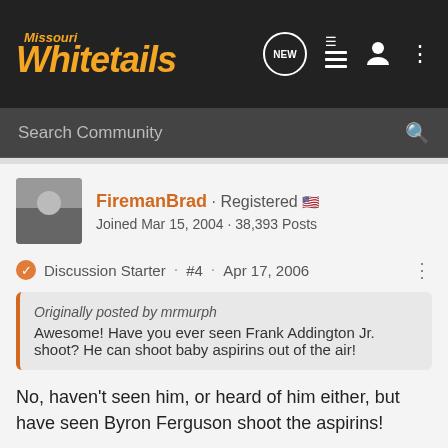Missouri Whitetails
Search Community
FiremanBrad · Registered
Joined Mar 15, 2004 · 38,393 Posts
Discussion Starter · #4 · Apr 17, 2006
Originally posted by mrmurph
Awesome! Have you ever seen Frank Addington Jr. shoot? He can shoot baby aspirins out of the air!
No, haven't seen him, or heard of him either, but have seen Byron Ferguson shoot the aspirins!
http://www.showmebigbucks.org/